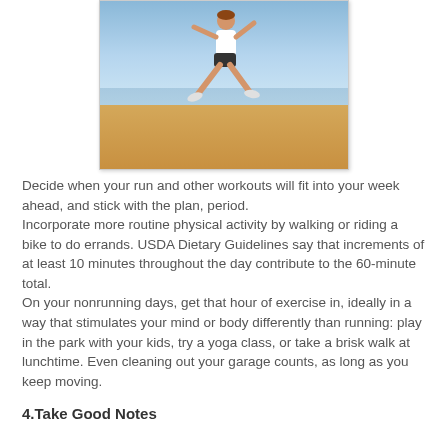[Figure (photo): A person in athletic wear jumping/running on a beach with blue sky and ocean in background]
Decide when your run and other workouts will fit into your week ahead, and stick with the plan, period. Incorporate more routine physical activity by walking or riding a bike to do errands. USDA Dietary Guidelines say that increments of at least 10 minutes throughout the day contribute to the 60-minute total.
On your nonrunning days, get that hour of exercise in, ideally in a way that stimulates your mind or body differently than running: play in the park with your kids, try a yoga class, or take a brisk walk at lunchtime. Even cleaning out your garage counts, as long as you keep moving.
4.Take Good Notes